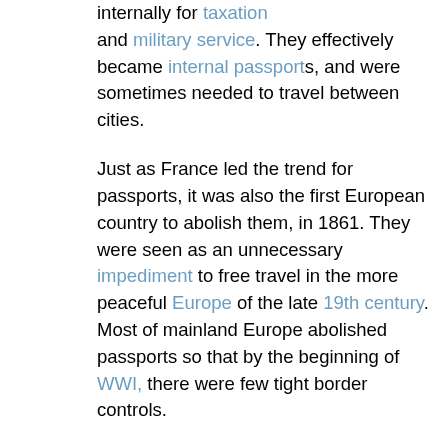internally for taxation and military service. They effectively became internal passports, and were sometimes needed to travel between cities.
Just as France led the trend for passports, it was also the first European country to abolish them, in 1861. They were seen as an unnecessary impediment to free travel in the more peaceful Europe of the late 19th century. Most of mainland Europe abolished passports so that by the beginning of WWI, there were few tight border controls.
With the advent of photography as a cheap way of determining identity, passports began having photographs attached to them in...